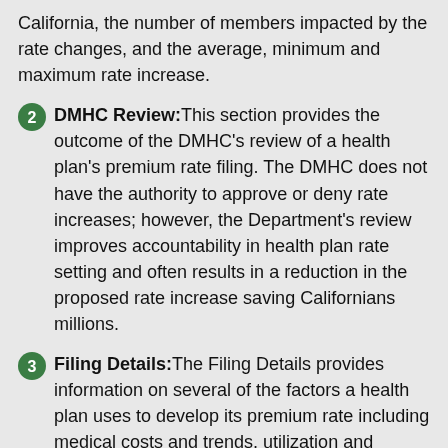California, the number of members impacted by the rate changes, and the average, minimum and maximum rate increase.
DMHC Review: This section provides the outcome of the DMHC's review of a health plan's premium rate filing. The DMHC does not have the authority to approve or deny rate increases; however, the Department's review improves accountability in health plan rate setting and often results in a reduction in the proposed rate increase saving Californians millions.
Filing Details: The Filing Details provides information on several of the factors a health plan uses to develop its premium rate including medical costs and trends, utilization and administrative costs. Medical costs are where the biggest part of premium dollar must be spent. Health plans must spend at least 80 to 85 percent of every dollar on medical costs such as